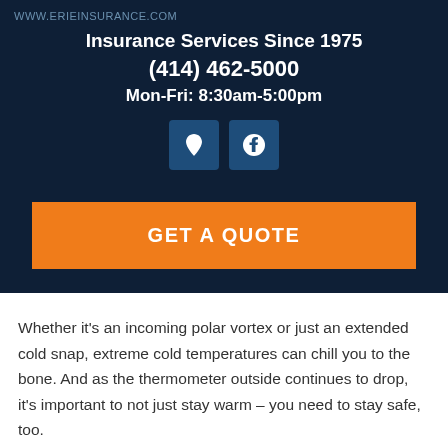WWW.ERIEINSURANCE.COM
Insurance Services Since 1975
(414) 462-5000
Mon-Fri: 8:30am-5:00pm
[Figure (other): Location pin icon and Facebook icon buttons]
GET A QUOTE
Whether it's an incoming polar vortex or just an extended cold snap, extreme cold temperatures can chill you to the bone. And as the thermometer outside continues to drop, it's important to not just stay warm – you need to stay safe, too.